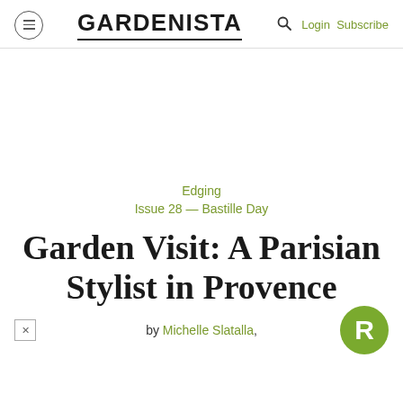GARDENISTA   Login Subscribe
Edging
Issue 28 — Bastille Day
Garden Visit: A Parisian Stylist in Provence
by Michelle Slatalla,